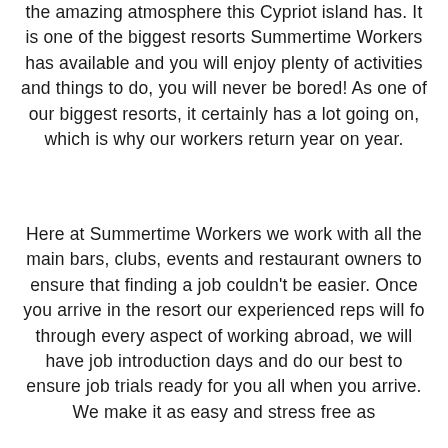the amazing atmosphere this Cypriot island has. It is one of the biggest resorts Summertime Workers has available and you will enjoy plenty of activities and things to do, you will never be bored! As one of our biggest resorts, it certainly has a lot going on, which is why our workers return year on year.
Here at Summertime Workers we work with all the main bars, clubs, events and restaurant owners to ensure that finding a job couldn't be easier. Once you arrive in the resort our experienced reps will fo through every aspect of working abroad, we will have job introduction days and do our best to ensure job trials ready for you all when you arrive. We make it as easy and stress free as